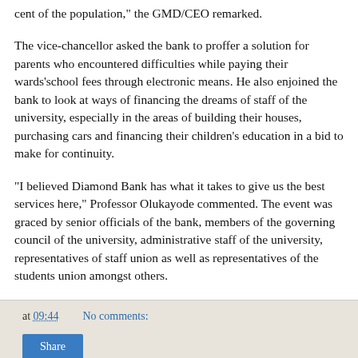cent of the population," the GMD/CEO remarked.
The vice-chancellor asked the bank to proffer a solution for parents who encountered difficulties while paying their wards’school fees through electronic means. He also enjoined the bank to look at ways of financing the dreams of staff of the university, especially in the areas of building their houses, purchasing cars and financing their children’s education in a bid to make for continuity.
"I believed Diamond Bank has what it takes to give us the best services here," Professor Olukayode commented. The event was graced by senior officials of the bank, members of the governing council of the university, administrative staff of the university, representatives of staff union as well as representatives of the students union amongst others.
at 09:44   No comments:   Share
Sony Inaugurates New State-of-the-Art